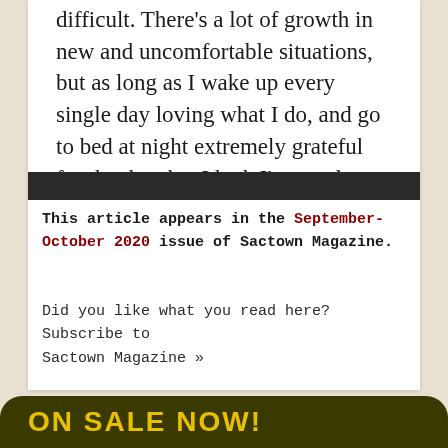difficult. There's a lot of growth in new and uncomfortable situations, but as long as I wake up every single day loving what I do, and go to bed at night extremely grateful for the day that I had, I'm good.
This article appears in the September-October 2020 issue of Sactown Magazine.
Did you like what you read here? Subscribe to Sactown Magazine »
ON SALE NOW!